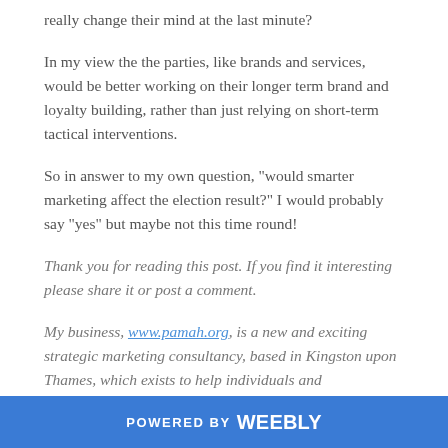really change their mind at the last minute?
In my view the the parties, like brands and services, would be better working on their longer term brand and loyalty building, rather than just relying on short-term tactical interventions.
So in answer to my own question, "would smarter marketing affect the election result?" I would probably say "yes" but maybe not this time round!
Thank you for reading this post. If you find it interesting please share it or post a comment.
My business, www.pamah.org, is a new and exciting strategic marketing consultancy, based in Kingston upon Thames, which exists to help individuals and
POWERED BY weebly